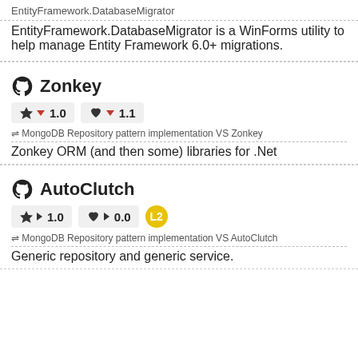EntityFramework.DatabaseMigrator
EntityFramework.DatabaseMigrator is a WinForms utility to help manage Entity Framework 6.0+ migrations.
Zonkey
★ ▼ 1.0   ♥ ▼ 1.1
⇌ MongoDB Repository pattern implementation VS Zonkey
Zonkey ORM (and then some) libraries for .Net
AutoClutch
★ ▶ 1.0   ♥ ▶ 0.0   L2
⇌ MongoDB Repository pattern implementation VS AutoClutch
Generic repository and generic service.